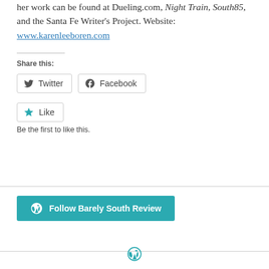her work can be found at Dueling.com, Night Train, South85, and the Santa Fe Writer's Project. Website: www.karenleeboren.com
Share this:
Twitter  Facebook
Like  Be the first to like this.
Follow Barely South Review
WordPress icon